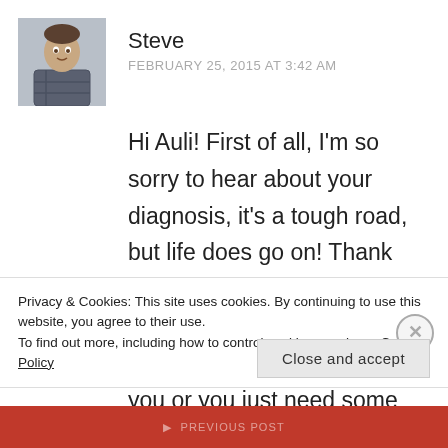[Figure (photo): Circular avatar photo of a man (Steve) sitting, wearing a plaid shirt]
Steve
FEBRUARY 25, 2015 AT 3:42 AM
Hi Auli! First of all, I'm so sorry to hear about your diagnosis, it's a tough road, but life does go on! Thank you for reading, I hope that it's helpful, and if there is anything I can ever do for you or you just need some one to hear you out, let me know! God bless
Privacy & Cookies: This site uses cookies. By continuing to use this website, you agree to their use.
To find out more, including how to control cookies, see here: Cookie Policy
Close and accept